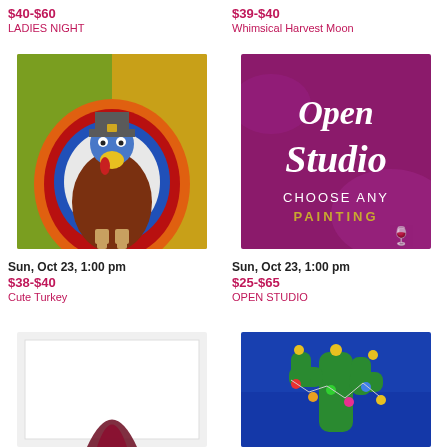$40-$60
LADIES NIGHT
$39-$40
Whimsical Harvest Moon
[Figure (illustration): Cartoon cute turkey painting with pilgrim hat, colorful feathers in red, orange, blue, and brown tones on autumn background]
[Figure (illustration): Purple/magenta background with white cursive text 'Open Studio' and white text 'CHOOSE ANY PAINTING' with gold text 'PAINTING', wine glass icon]
Sun, Oct 23, 1:00 pm
$38-$40
Cute Turkey
Sun, Oct 23, 1:00 pm
$25-$65
OPEN STUDIO
[Figure (illustration): White canvas/paper with partial view of dark maroon abstract art]
[Figure (illustration): Painting of cactus with colorful Christmas lights on blue background with yellow flowers]